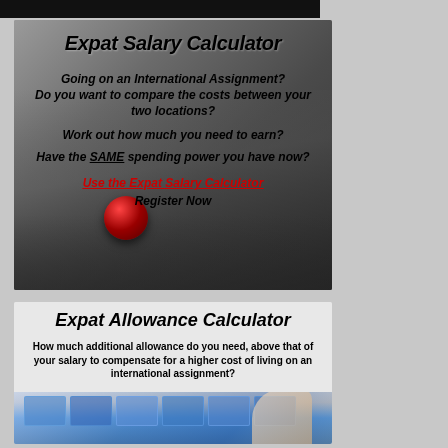[Figure (infographic): Expat Salary Calculator advertisement with keyboard background. Title: 'Expat Salary Calculator'. Lines: 'Going on an International Assignment?', 'Do you want to compare the costs between your two locations?', 'Work out how much you need to earn?', 'Have the SAME spending power you have now?', 'Use the Expat Salary Calculator' (in red), 'Register Now'. Features blurred calculator/keyboard photo with red key.]
[Figure (infographic): Expat Allowance Calculator advertisement. Title: 'Expat Allowance Calculator'. Text: 'How much additional allowance do you need, above that of your salary to compensate for a higher cost of living on an international assignment?' with technology/globe imagery and handshake photo.]